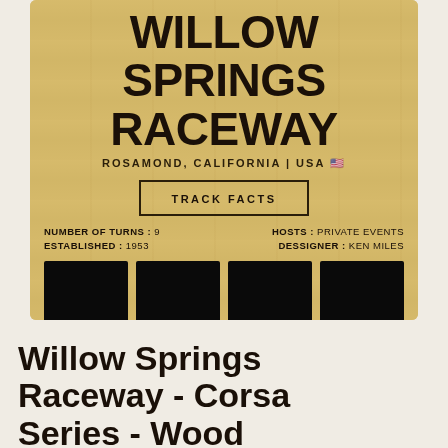[Figure (photo): Wooden plaque/sign for Willow Springs Raceway showing track facts (Number of Turns: 9, Established: 1953, Hosts: Private Events, Designer: Ken Miles) and four black rectangular image panels at the bottom, with wood-grain background texture.]
Willow Springs Raceway - Corsa Series - Wood